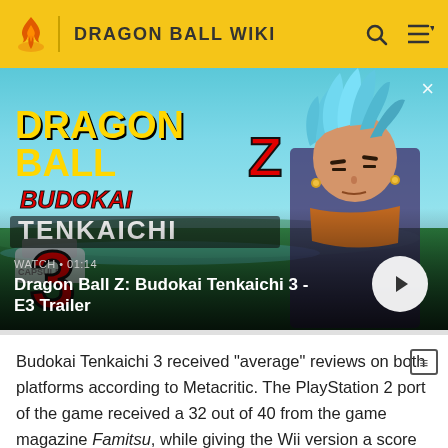DRAGON BALL WIKI
[Figure (screenshot): Dragon Ball Z: Budokai Tenkaichi 3 video thumbnail showing game logo and a character with blue hair. Overlay shows 'WATCH • 01:14' and title 'Dragon Ball Z: Budokai Tenkaichi 3 - E3 Trailer' with a play button.]
Budokai Tenkaichi 3 received "average" reviews on both platforms according to Metacritic. The PlayStation 2 port of the game received a 32 out of 40 from the game magazine Famitsu, while giving the Wii version a score 33